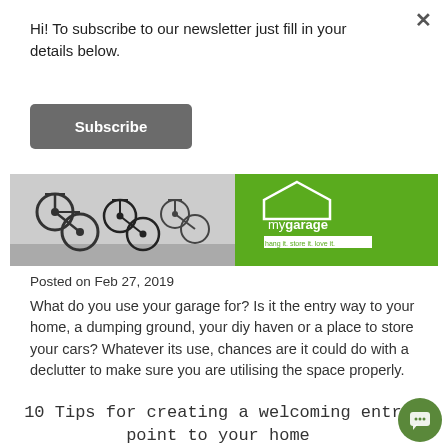Hi! To subscribe to our newsletter just fill in your details below.
Subscribe
[Figure (photo): A garage image showing bicycles hanging on a wall on the left, and a green panel on the right with the 'mygarage' logo and tagline 'hang it. store it. love it.']
Posted on Feb 27, 2019
What do you use your garage for?  Is it the entry way to your home, a dumping ground, your diy haven or a place to store your cars? Whatever its use, chances are it could do with a declutter to make sure you are utilising the space properly.
10 Tips for creating a welcoming entry point to your home